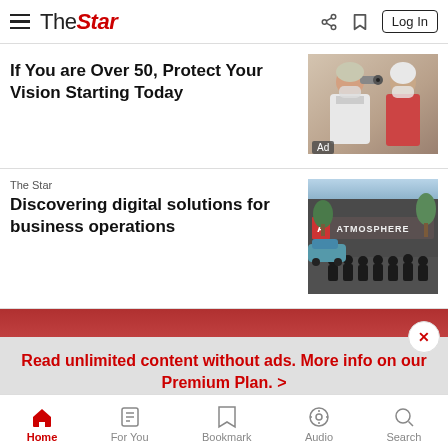The Star — Log In
If You are Over 50, Protect Your Vision Starting Today
[Figure (photo): Doctor examining elderly patient's eye with ophthalmoscope, both wearing masks]
Ad
The Star
Discovering digital solutions for business operations
[Figure (photo): Group of people in black t-shirts posing in front of Atmosphere signage]
Read unlimited content without ads.  More info on our Premium Plan.  >
Home  For You  Bookmark  Audio  Search